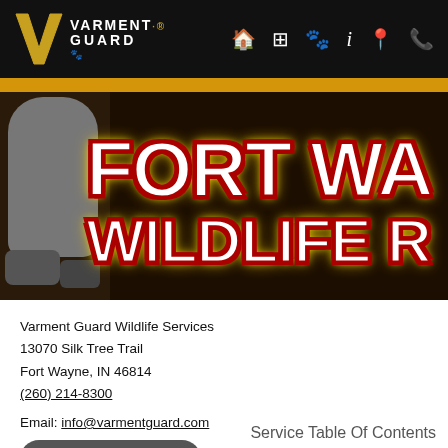[Figure (screenshot): Varment Guard website navigation bar with logo on left and icons (home, grid, paw, info, location, phone) on right, on black background with gold stripe below]
[Figure (photo): Banner image showing partial animal (raccoon or similar wildlife) on left and large stylized text reading FORT WA... WILDLIFE R... in white letters with red outline and yellow glow on dark background]
Varment Guard Wildlife Services
13070 Silk Tree Trail
Fort Wayne, IN 46814
(260) 214-8300
Email: info@varmentguard.com
Schedule Now
Service Table Of Contents